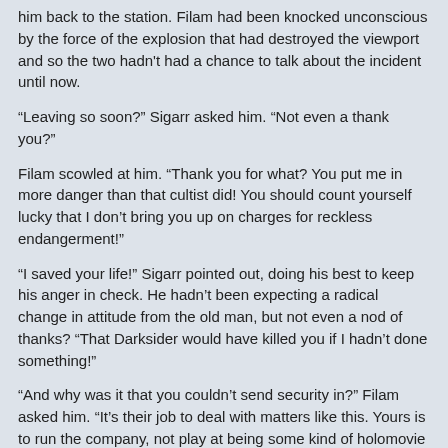him back to the station. Filam had been knocked unconscious by the force of the explosion that had destroyed the viewport and so the two hadn't had a chance to talk about the incident until now.
“Leaving so soon?” Sigarr asked him. “Not even a thank you?”
Filam scowled at him. “Thank you for what? You put me in more danger than that cultist did! You should count yourself lucky that I don’t bring you up on charges for reckless endangerment!”
“I saved your life!” Sigarr pointed out, doing his best to keep his anger in check. He hadn’t been expecting a radical change in attitude from the old man, but not even a nod of thanks? “That Darksider would have killed you if I hadn’t done something!”
“And why was it that you couldn’t send security in?” Filam asked him. “It’s their job to deal with matters like this. Yours is to run the company, not play at being some kind of holomovie action star.”
“I…” Sigarr started before he gave up and shook his head in disgust. He knew Filam would never understand his reasons. Worse, he could even understand where the board member was coming from. Sigarr had known all along that his plan had been reckless. It could have gone horribly wrong in so many ways. “You’re welcome anyway.”